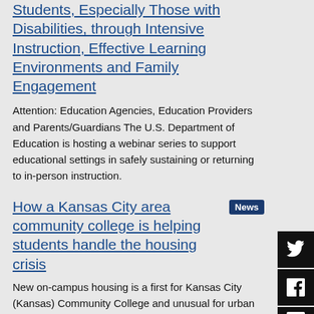Students, Especially Those with Disabilities, through Intensive Instruction, Effective Learning Environments and Family Engagement
Attention: Education Agencies, Education Providers and Parents/Guardians The U.S. Department of Education is hosting a webinar series to support educational settings in safely sustaining or returning to in-person instruction.
How a Kansas City area community college is helping students handle the housing crisis
New on-campus housing is a first for Kansas City (Kansas) Community College and unusual for urban two-year schools.
1 2 » Last »